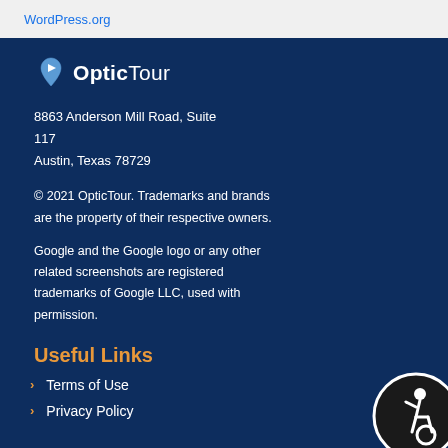WordPress.org
[Figure (logo): OpticTour logo with map pin icon]
8863 Anderson Mill Road, Suite 117
Austin, Texas 78729
© 2021 OpticTour. Trademarks and brands are the property of their respective owners.
Google and the Google logo or any other related screenshots are registered trademarks of Google LLC, used with permission.
Useful Links
Terms of Use
Privacy Policy
[Figure (illustration): Accessibility icon button (wheelchair figure in dark circle)]